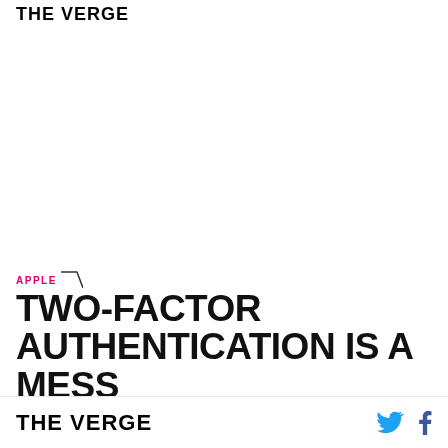THE VERGE
APPLE
TWO-FACTOR AUTHENTICATION IS A MESS
It was supposed to be a one-stop security fix
THE VERGE